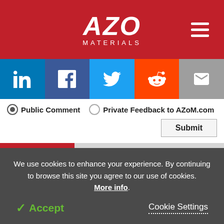[Figure (logo): AZo Materials logo in white on red background with hamburger menu icon]
[Figure (infographic): Social sharing bar with LinkedIn, Facebook, Twitter, Reddit, and Email buttons]
Public Comment   Private Feedback to AZoM.com
Submit
Latest interviews
Featured equipment
Trending stories
A New Era of Polymers with Cambridge Smart Plastics
We use cookies to enhance your experience. By continuing to browse this site you agree to our use of cookies. More info.
✓ Accept   Cookie Settings